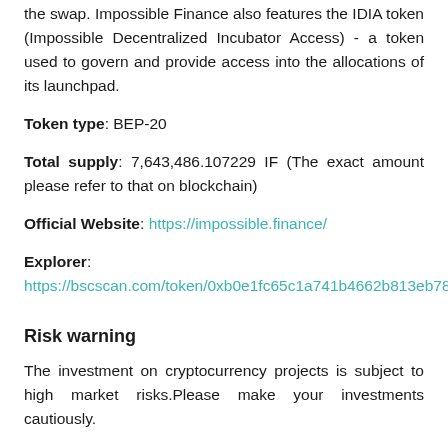the swap. Impossible Finance also features the IDIA token (Impossible Decentralized Incubator Access) - a token used to govern and provide access into the allocations of its launchpad.
Token type: BEP-20
Total supply: 7,643,486.107229 IF (The exact amount please refer to that on blockchain)
Official Website: https://impossible.finance/
Explorer: https://bscscan.com/token/0xb0e1fc65c1a741b4662b813eb787d369b8614af1
Risk warning
The investment on cryptocurrency projects is subject to high market risks.Please make your investments cautiously.